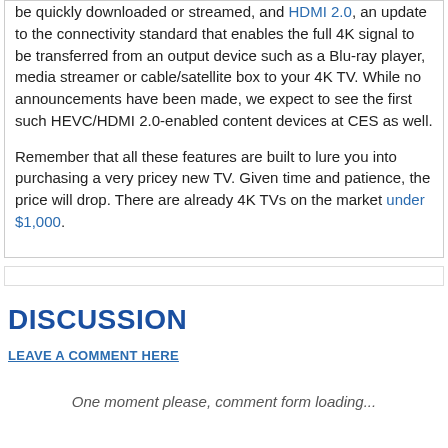be quickly downloaded or streamed, and HDMI 2.0, an update to the connectivity standard that enables the full 4K signal to be transferred from an output device such as a Blu-ray player, media streamer or cable/satellite box to your 4K TV. While no announcements have been made, we expect to see the first such HEVC/HDMI 2.0-enabled content devices at CES as well.

Remember that all these features are built to lure you into purchasing a very pricey new TV. Given time and patience, the price will drop. There are already 4K TVs on the market under $1,000.
DISCUSSION
LEAVE A COMMENT HERE
One moment please, comment form loading...